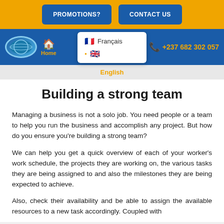PROMOTIONS?   CONTACT US
Home   Français   English   +237 682 302 057
English
Building a strong team
Managing a business is not a solo job. You need people or a team to help you run the business and accomplish any project. But how do you ensure you're building a strong team?
We can help you get a quick overview of each of your worker's work schedule, the projects they are working on, the various tasks they are being assigned to and also the milestones they are being expected to achieve.
Also, check their availability and be able to assign the available resources to a new task accordingly. Coupled with